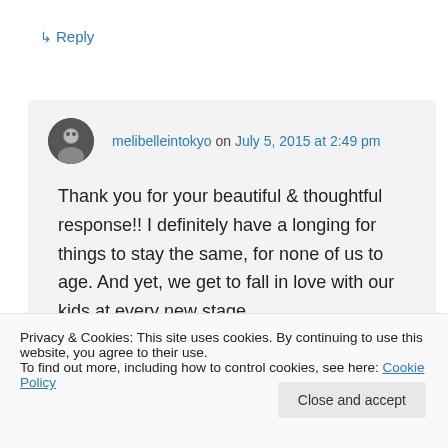↳ Reply
melibelleintokyo on July 5, 2015 at 2:49 pm
Thank you for your beautiful & thoughtful response!! I definitely have a longing for things to stay the same, for none of us to age. And yet, we get to fall in love with our kids at every new stage.
Privacy & Cookies: This site uses cookies. By continuing to use this website, you agree to their use.
To find out more, including how to control cookies, see here: Cookie Policy